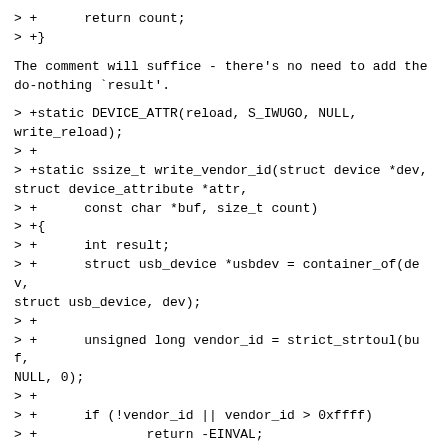> +      return count;
> +}
The comment will suffice - there's no need to add the do-nothing `result'.
> +static DEVICE_ATTR(reload, S_IWUGO, NULL,
write_reload);
> +
> +static ssize_t write_vendor_id(struct device *dev,
struct device_attribute *attr,
> +      const char *buf, size_t count)
> +{
> +      int result;
> +      struct usb_device *usbdev = container_of(dev,
struct usb_device, dev);
> +
> +      unsigned long vendor_id = strict_strtoul(buf,
NULL, 0);
> +
> +      if (!vendor_id || vendor_id > 0xffff)
> +              return -EINVAL;
> +
> +      result = usb_control_msg(usbdev,
> +              usb_sndctrlpipe(usbdev, 0),
> +              CP2101_EEPROM, REQTYPE_HOST_TO_DEVICE,
EEPROM_VENDOR_ID,
> +              vendor_id, NULL, 0, 300);
> +
> +      if (result)
> +          return -EIO;